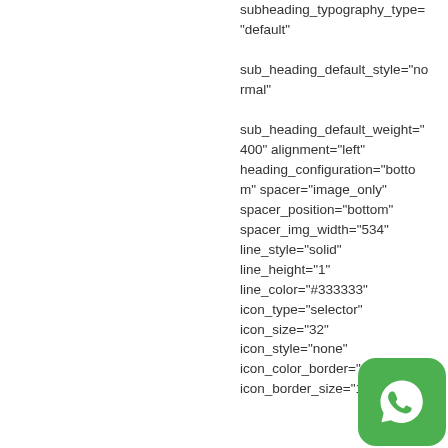subheading_typography_type="default" sub_heading_default_style="normal" sub_heading_default_weight="400" alignment="left" heading_configuration="bottom" spacer="image_only" spacer_position="bottom" spacer_img_width="534" line_style="solid" line_height="1" line_color="#333333" icon_type="selector" icon_size="32" icon_style="none" icon_color_border="#333 icon_border_size="1"
[Figure (logo): WhatsApp green icon in the bottom right corner]